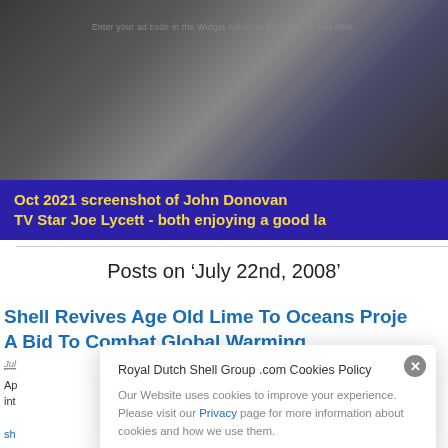[Figure (screenshot): Screenshot of a webpage showing a photo of John Donovan and TV Star Joe Lycett with a blue/purple caption bar overlay reading 'Oct 2021 screenshot of John Donovan TV Star Joe Lycett - both enjoying a good la']
Enter your ad code in the Widget Admin to display your ads here.
Posts on ‘July 22nd, 2008’
Shell Revives Age Old Lime To Oceans Proje A Bid To Combat Global Warming
Jul
Ap presse int
sh olc co
Royal Dutch Shell Group .com Cookies Policy
Our Website uses cookies to improve your experience. Please visit our Privacy page for more information about cookies and how we use them.